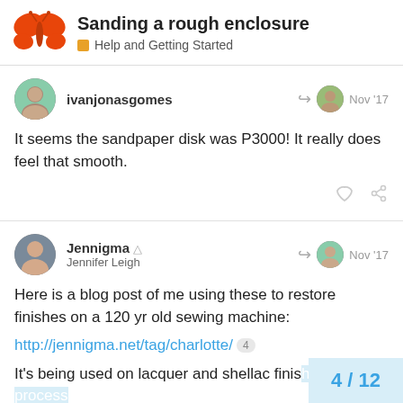Sanding a rough enclosure | Help and Getting Started
ivanjonasgomes — Nov '17 — It seems the sandpaper disk was P3000! It really does feel that smooth.
Jennigma Jennifer Leigh — Nov '17 — Here is a blog post of me using these to restore finishes on a 120 yr old sewing machine: http://jennigma.net/tag/charlotte/ 4 — It's being used on lacquer and shellac finis... is the same.
4 / 12